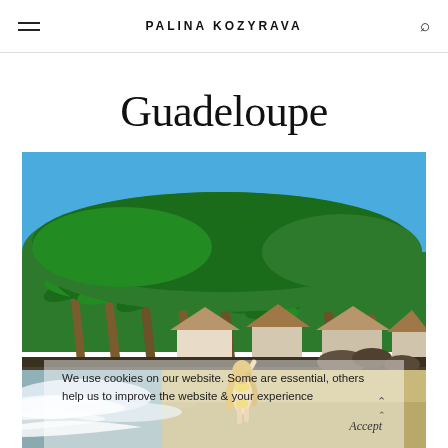PALINA KOZYRAVA
Guadeloupe
[Figure (photo): Tropical beach scene with tall palm trees, thatched-roof bungalows, a sandy beach with ocean waves, and a blonde woman in a yellow bikini standing in the surf.]
We use cookies on our website. Some are essential, others help us to improve the website & your experience
Accept